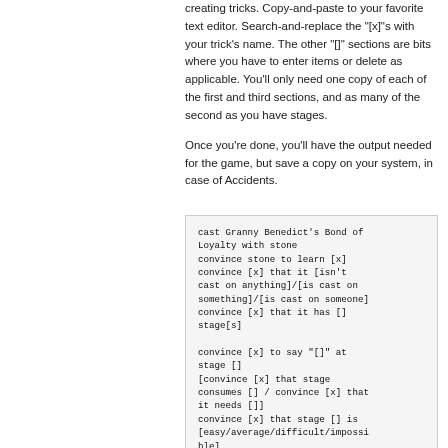creating tricks. Copy-and-paste to your favorite text editor. Search-and-replace the "[x]"s with your trick's name. The other "[]" sections are bits where you have to enter items or delete as applicable. You'll only need one copy of each of the first and third sections, and as many of the second as you have stages.
Once you're done, you'll have the output needed for the game, but save a copy on your system, in case of Accidents.
cast Granny Benedict's Bond of Loyalty with stone
convince stone to learn [x]
convince [x] that it [isn't cast on anything]/[is cast on something]/[is cast on someone]
convince [x] that it has [] stage[s]

convince [x] to say "[]" at stage []
[convince [x] that stage consumes [] / convince [x] that it needs []]
convince [x] that stage [] is [easy/average/difficult/impossi ble]